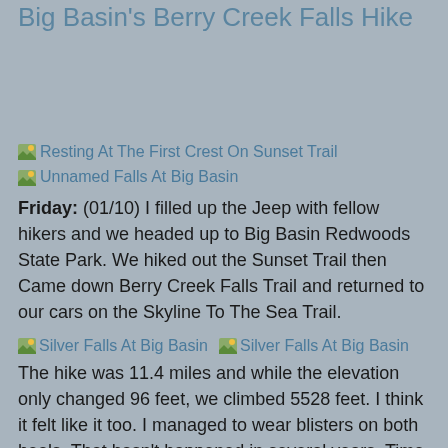Big Basin's Berry Creek Falls Hike
[Figure (photo): Resting At The First Crest On Sunset Trail]
[Figure (photo): Unnamed Falls At Big Basin]
Friday: (01/10) I filled up the Jeep with fellow hikers and we headed up to Big Basin Redwoods State Park. We hiked out the Sunset Trail then Came down Berry Creek Falls Trail and returned to our cars on the Skyline To The Sea Trail.
[Figure (photo): Silver Falls At Big Basin]
[Figure (photo): Silver Falls At Big Basin]
The hike was 11.4 miles and while the elevation only changed 96 feet, we climbed 5528 feet. I think it felt like it too. I managed to wear blisters on both heals. That hasn't happened in several years. Time to replace the shoes and socks.
[Figure (photo): Big Basin Berry Creek Falls Trail Hikers]
We had 17 hikers for the hike which took most of the day to